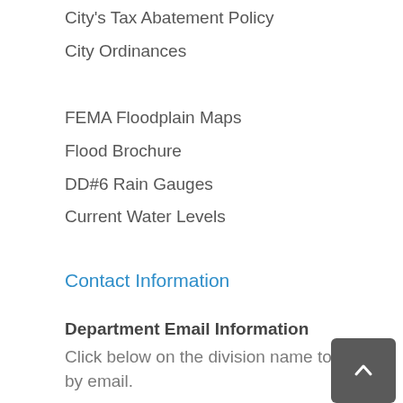City's Tax Abatement Policy
City Ordinances
FEMA Floodplain Maps
Flood Brochure
DD#6 Rain Gauges
Current Water Levels
Contact Information
Department Email Information
Click below on the division name to contact by email.
- Building Codes
- Code Compliance
To contact someone about the zoning of a property or to obtain a Zoning Certification letter, please contact our